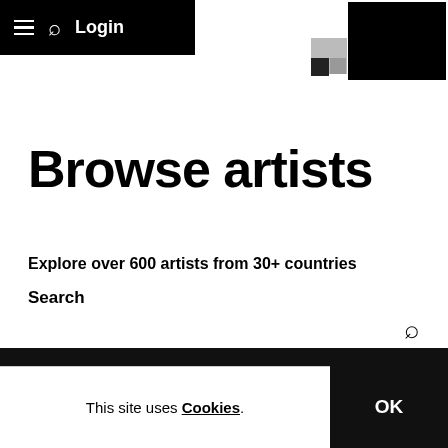☰  🔍  Login
[Figure (logo): Abstract geometric logo made of black and grey squares in top-right corner]
Browse artists
Explore over 600 artists from 30+ countries
Search
Filter Artists
Country
This site uses Cookies.